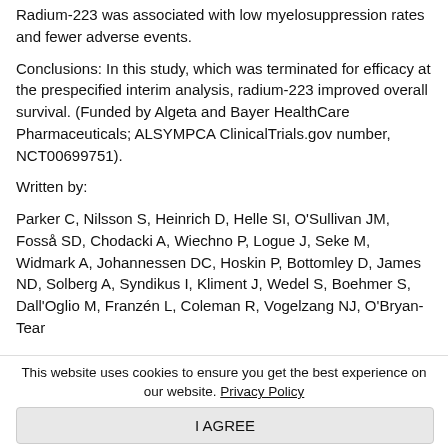Radium-223 was associated with low myelosuppression rates and fewer adverse events.
Conclusions: In this study, which was terminated for efficacy at the prespecified interim analysis, radium-223 improved overall survival. (Funded by Algeta and Bayer HealthCare Pharmaceuticals; ALSYMPCA ClinicalTrials.gov number, NCT00699751).
Written by:
Parker C, Nilsson S, Heinrich D, Helle SI, O'Sullivan JM, Fosså SD, Chodacki A, Wiechno P, Logue J, Seke M, Widmark A, Johannessen DC, Hoskin P, Bottomley D, James ND, Solberg A, Syndikus I, Kliment J, Wedel S, Boehmer S, Dall'Oglio M, Franzén L, Coleman R, Vogelzang NJ, O'Bryan-Tear
This website uses cookies to ensure you get the best experience on our website. Privacy Policy
I AGREE